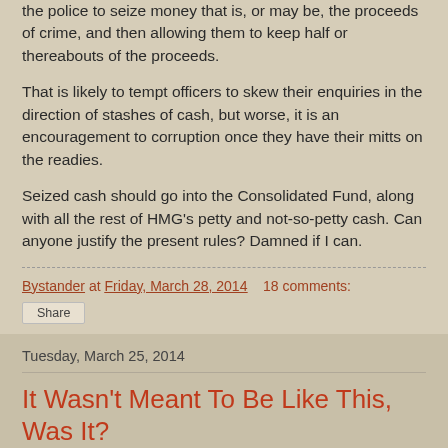the police to seize money that is, or may be, the proceeds of crime, and then allowing them to keep half or thereabouts of the proceeds.
That is likely to tempt officers to skew their enquiries in the direction of stashes of cash, but worse, it is an encouragement to corruption once they have their mitts on the readies.
Seized cash should go into the Consolidated Fund, along with all the rest of HMG's petty and not-so-petty cash. Can anyone justify the present rules? Damned if I can.
Bystander at Friday, March 28, 2014   18 comments:
Share
Tuesday, March 25, 2014
It Wasn't Meant To Be Like This, Was It?